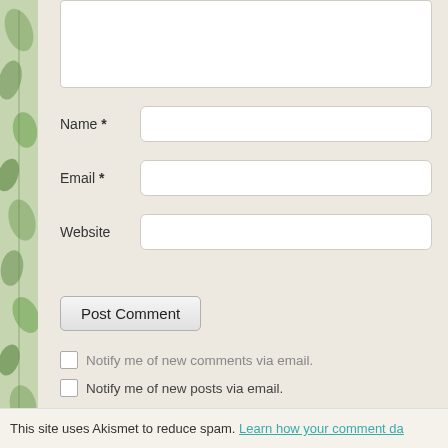[Figure (illustration): Left decorative border with green leaf/plant pattern on beige background]
Name *
Email *
Website
Post Comment
Notify me of new comments via email.
Notify me of new posts via email.
This site uses Akismet to reduce spam. Learn how your comment da